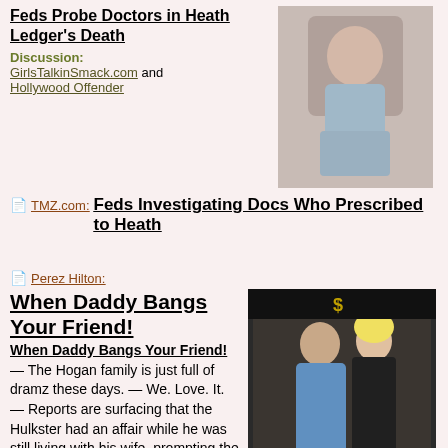Feds Probe Doctors in Heath Ledger's Death
Discussion: GirlsTalkinSmack.com and Hollywood Offender
[Figure (photo): Photo of a young man sitting, wearing a gray hoodie]
TMZ.com: Feds Investigating Docs Who Prescribed to Heath
Perez Hilton: When Daddy Bangs Your Friend! — The Hogan family is just full of dramz these days. — We. Love. It. — Reports are surfacing that the Hulkster had an affair while he was still living with his wife, prompting the hulking Linda Hogan to file for divorce from him. A divorce that's recently turned u-g-l-y .
[Figure (photo): Photo of a man in blue shirt and a blonde woman posing together at an event]